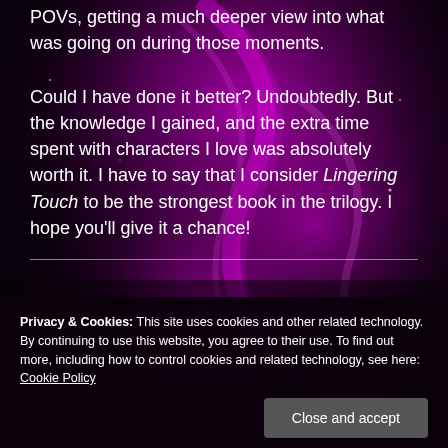POVs, getting a much deeper view into what was going on during those moments.
Could I have done it better? Undoubtedly. But the knowledge I gained, and the extra time spent with characters I love was absolutely worth it. I have to say that I consider Lingering Touch to be the strongest book in the trilogy. I hope you'll give it a chance!
Privacy & Cookies: This site uses cookies and other related technology. By continuing to use this website, you agree to their use. To find out more, including how to control cookies and related technology, see here: Cookie Policy
Close and accept